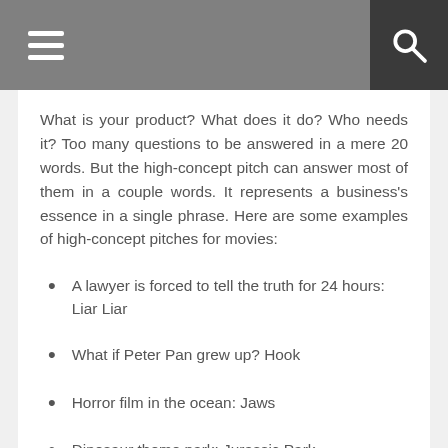What is your product? What does it do? Who needs it? Too many questions to be answered in a mere 20 words. But the high-concept pitch can answer most of them in a couple words. It represents a business's essence in a single phrase. Here are some examples of high-concept pitches for movies:
A lawyer is forced to tell the truth for 24 hours: Liar Liar
What if Peter Pan grew up? Hook
Horror film in the ocean: Jaws
Dinosaur theme park: Jurassic Park